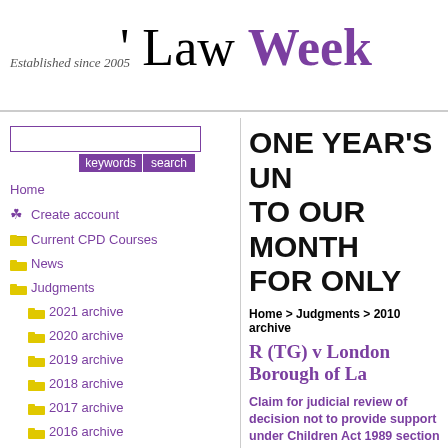' Law Week — Established since 2005
[Figure (screenshot): Search box with keywords and search buttons]
Home
Create account
Current CPD Courses
News
Judgments
2021 archive
2020 archive
2019 archive
2018 archive
2017 archive
2016 archive
2015 archive
2014 archive
2013 archive
2012 archive
2011 archive
2010 archive
2009 archive
2008 archive
ONE YEAR'S UN TO OUR MONTH FOR ONLY
Home > Judgments > 2010 archive
R (TG) v London Borough of La
Claim for judicial review of decision not to provide support under Children Act 1989 section 23C. Claim failed.
The defendant local authority had provided the claimant with accommodation in 2006 when he was 16. It now refused to determine him eligible as a 'relevant child' for the purposes of leaving care support. It was common ground that TG, aged 21 years old in April 2010, was a 'former relevant child' entitled to pathway services, principally described in section 23C, from the local authority, up to the age of 24. Whether he was so entitled depended on whether he was at any relevant time a 'looked after child' under the Children Act 1989. This in turn depended crucially upon what powers the authority was exercising when it originally provided the c